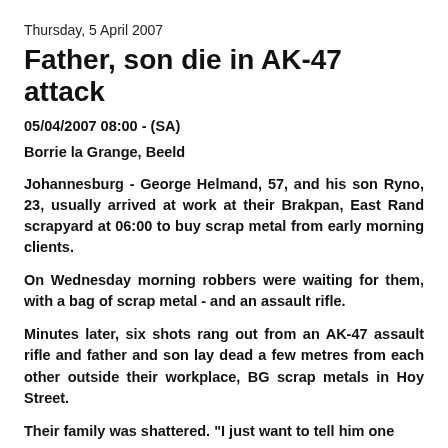Thursday, 5 April 2007
Father, son die in AK-47 attack
05/04/2007 08:00 - (SA)
Borrie la Grange, Beeld
Johannesburg - George Helmand, 57, and his son Ryno, 23, usually arrived at work at their Brakpan, East Rand scrapyard at 06:00 to buy scrap metal from early morning clients.
On Wednesday morning robbers were waiting for them, with a bag of scrap metal - and an assault rifle.
Minutes later, six shots rang out from an AK-47 assault rifle and father and son lay dead a few metres from each other outside their workplace, BG scrap metals in Hoy Street.
Their family was shattered. "I just want to tell him one